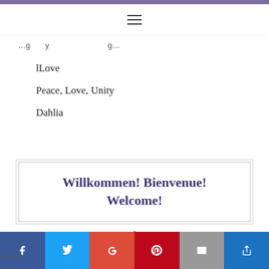Navigation bar with hamburger menu icon
...g...y...g...
lLove
Peace, Love, Unity
Dahlia
Willkommen! Bienvenue! Welcome!
[Figure (logo): Circular logo with colorful arc and decorative dots above it]
Shares | Facebook | Twitter | Google+ | Pinterest | Email | Other social share buttons